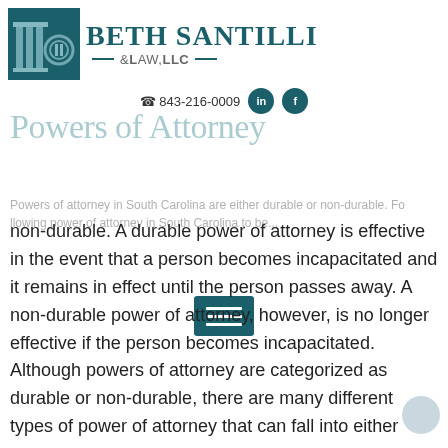[Figure (logo): Beth Santilli Law LLC logo with pillar/column icon and firm name]
☎ 843-216-0009
Powers of Attorney
Powers of attorney in South Carolina are either durable or non-durable. A durable power of attorney is effective in the event that a person becomes incapacitated and it remains in effect until the person passes away. A non-durable power of attorney, however, is no longer effective if the person becomes incapacitated. Although powers of attorney are categorized as durable or non-durable, there are many different types of power of attorney that can fall into either category.